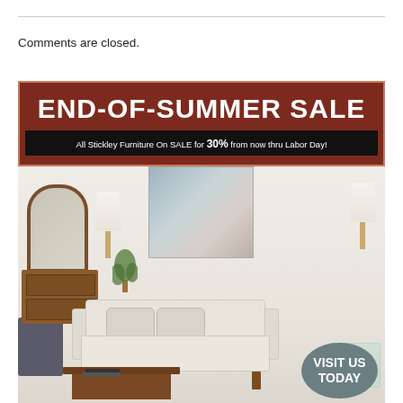Comments are closed.
[Figure (photo): Stickley Furniture End-of-Summer Sale advertisement. Red header with 'END-OF-SUMMER SALE' title and black bar reading 'All Stickley Furniture On Sale for 30% from now thru Labor Day!' Below is a photo of a furnished living room with a light-colored sofa, wooden coffee table, lamps, a mirror, dresser, and abstract wall art. A 'VISIT US TODAY' oval badge appears in the lower right. Bottom shows 'STICKLEY' logo and 'Well-made furniture sets the scene'.]